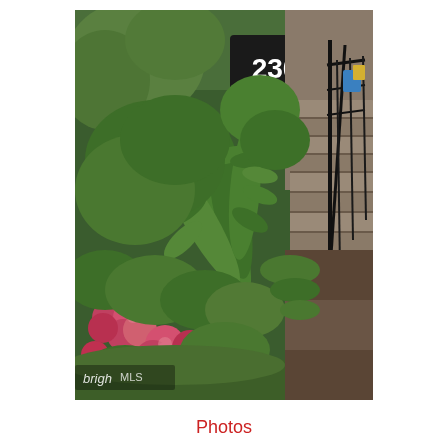[Figure (photo): Outdoor garden photo showing lush green foliage including large fern-like leaves, pink flowering shrubs (roses or similar), dense green bushes, a house number sign showing '230' on a dark background, wooden steps with a black metal railing on the right side, and a 'BrightMLS' watermark in the lower left corner.]
Photos